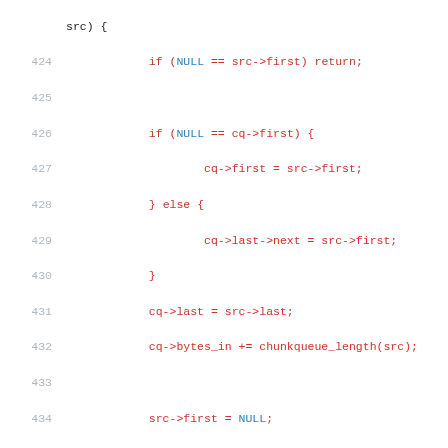Source code listing lines 424-443, C code for chunkqueue operations